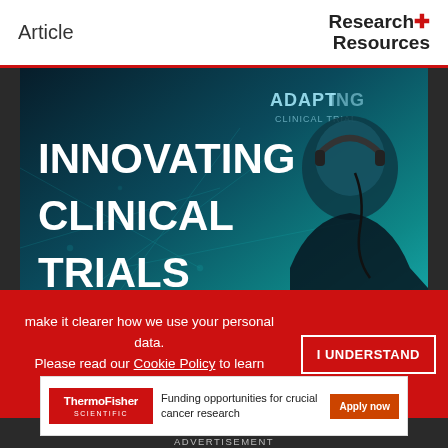Article
[Figure (illustration): Podcast promotional image for 'Innovating Clinical Trials' — TheScientist Lab Talk Podcast Series, sponsored by Amgen. Dark teal background with bold white text reading 'INNOVATING CLINICAL TRIALS' on the left, silhouette of a person wearing headphones on the right, and 'ADAPTING CLINICAL TRIALS' text in upper right corner.]
make it clearer how we use your personal data.
Please read our Cookie Policy to learn how we use cookies to provide you
[Figure (logo): ThermoFisher Scientific logo in white on red background. Advertisement banner: 'Funding opportunities for crucial cancer research' with an 'Apply now' button.]
ADVERTISEMENT